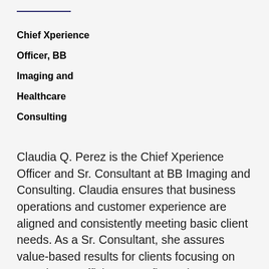Chief Xperience Officer, BB Imaging and Healthcare Consulting
Claudia Q. Perez is the Chief Xperience Officer and Sr. Consultant at BB Imaging and Consulting. Claudia ensures that business operations and customer experience are aligned and consistently meeting basic client needs. As a Sr. Consultant, she assures value-based results for clients focusing on experience, efficiency, profits and structures of the organization. Prior to joining BB Imaging in